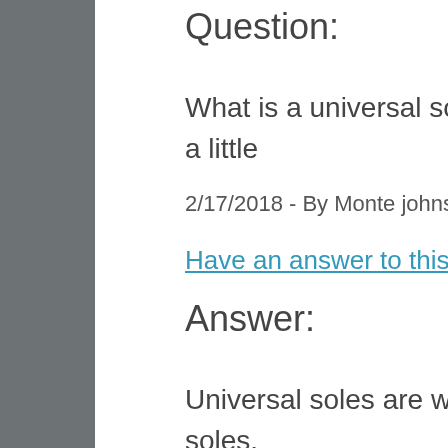Question:
What is a universal sole. She wants leather that slides a little
2/17/2018 - By Monte johnson
Have an answer to this question?
Answer:
Universal soles are when both shoes will have sliding soles.
2/19/2018 - By Bowling.Com Staff